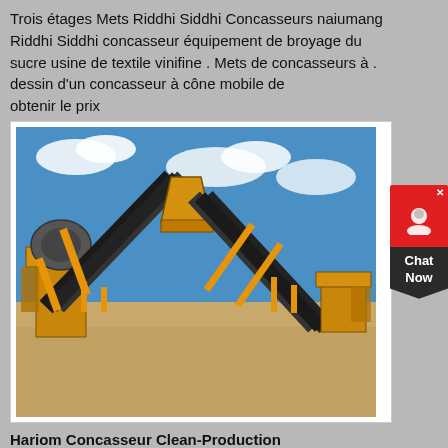Trois étages Mets Riddhi Siddhi Concasseurs naiumang Riddhi Siddhi concasseur équipement de broyage du sucre usine de textile vinifine . Mets de concasseurs à . dessin d'un concasseur à cône mobile de
obtenir le prix
[Figure (photo): Yellow heavy mining/crushing machinery with conveyor belts on a dirt construction site under a blue sky with clouds.]
Hariom Concasseur Clean-Production
Hariom Concasseur. crusher in pahar ganj villagecrafts.co. usine de concasseur à basoda de ganj madylifetr.club Pvt Ltd In Pahar Ganj Sayaji Trituradora De . sayaji stone crusher dealar in nagpur. sayaji stone crusher dealar in nagpur · cara kerja . meri crusher raymond winewaysexport. Meri crusher mj 1 0 for sale crusher.milanomet.